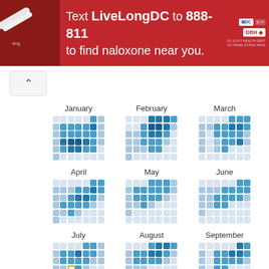[Figure (infographic): Red banner advertisement: Text LiveLongDC to 888-811 to find naloxone near you. DC government health department logos shown.]
[Figure (infographic): Calendar-style waffle/heatmap charts showing monthly drug overdose or health data for January through September, arranged in a 3x3 grid. Each month shows a 7-column grid of colored squares in shades of blue indicating data intensity. July has a gold-outlined cell indicating current or highlighted date.]